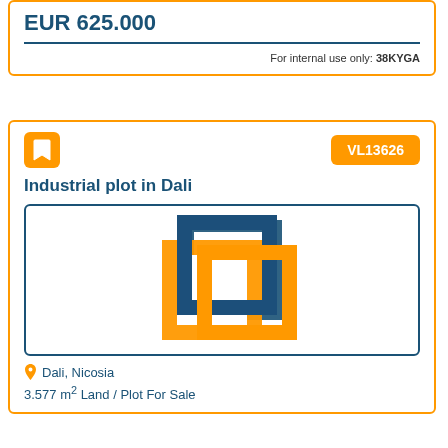EUR 625.000
For internal use only: 38KYGA
VL13626
Industrial plot in Dali
[Figure (logo): Real estate agency logo — two overlapping square frames, one orange and one dark blue, forming an interlocking pattern]
Dali, Nicosia
3.577 m² Land / Plot For Sale